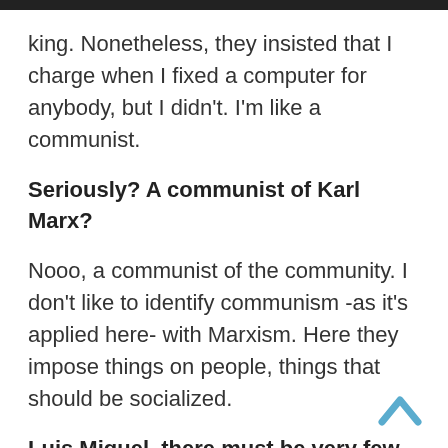king. Nonetheless, they insisted that I charge when I fixed a computer for anybody, but I didn't. I'm like a communist.
Seriously? A communist of Karl Marx?
Nooo, a communist of the community. I don't like to identify communism -as it's applied here- with Marxism. Here they impose things on people, things that should be socialized.
Luis Miguel, there must be very few youth in Cuba who think like you. Where did you get these ideas? Did you learn th...